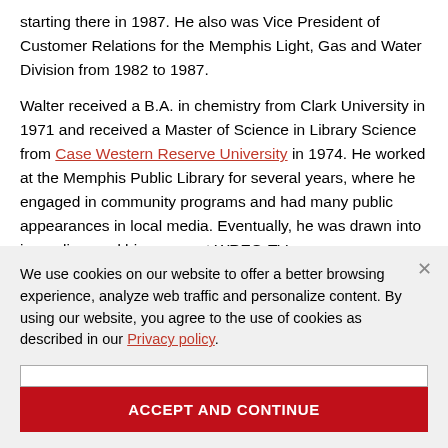starting there in 1987. He also was Vice President of Customer Relations for the Memphis Light, Gas and Water Division from 1982 to 1987.
Walter received a B.A. in chemistry from Clark University in 1971 and received a Master of Science in Library Science from Case Western Reserve University in 1974. He worked at the Memphis Public Library for several years, where he engaged in community programs and had many public appearances in local media. Eventually, he was drawn into journalism and his career at WREG-TV.
We use cookies on our website to offer a better browsing experience, analyze web traffic and personalize content. By using our website, you agree to the use of cookies as described in our Privacy policy.
ACCEPT AND CONTINUE